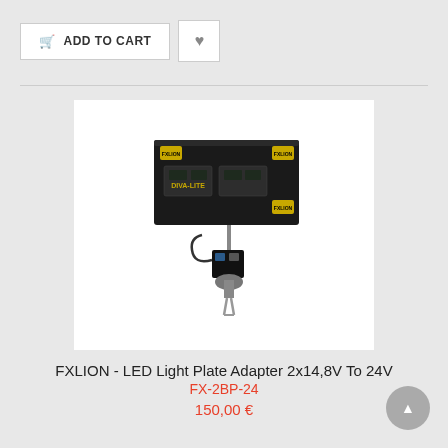ADD TO CART
[Figure (photo): FXLION LED Light Plate Adapter product photo showing a black rectangular LED panel mounted on a stand/clamp with gold FXLION branding logos on corners]
FXLION - LED Light Plate Adapter 2x14,8V To 24V
FX-2BP-24
150,00 €